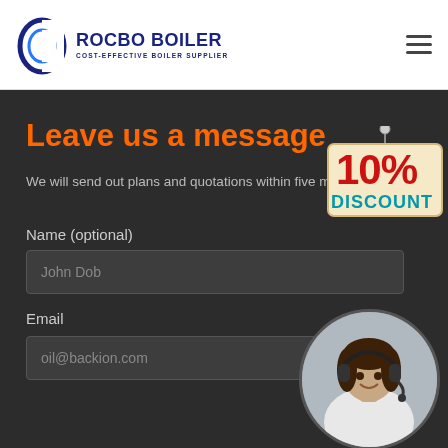[Figure (logo): Rocbo Boiler logo with circular wave icon and text 'ROCBO BOILER' and 'COST-EFFECTIVE BOILER SUPPLIER']
Leave us a message
We will send out plans and quotations within five minutes
Name (optional)
John Dob
Email
oil@backion.com
[Figure (illustration): 10% DISCOUNT hanging sign badge]
[Figure (photo): Customer service representative woman wearing headset, smiling, in circular crop]